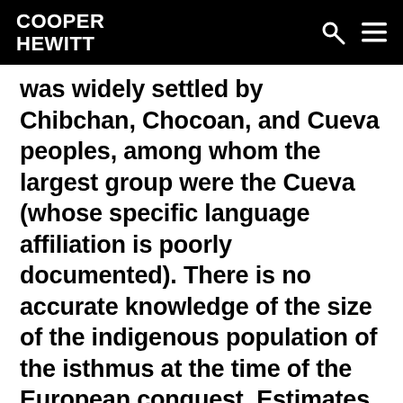COOPER HEWITT
was widely settled by Chibchan, Chocoan, and Cueva peoples, among whom the largest group were the Cueva (whose specific language affiliation is poorly documented). There is no accurate knowledge of the size of the indigenous population of the isthmus at the time of the European conquest. Estimates range as high as two million people, but more recent studies place that number closer to 200,000. Archeological finds as well as testimonials by early European explorers